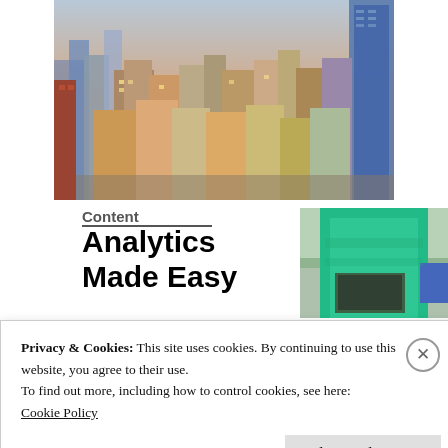[Figure (photo): Aerial view of a dense urban cityscape with tall skyscrapers and apartment buildings at dusk, photographed from above.]
Analytics Made Easy
[Figure (photo): Person wearing a bright green/teal top working at a laptop, photographed from behind/side.]
Privacy & Cookies: This site uses cookies. By continuing to use this website, you agree to their use.
To find out more, including how to control cookies, see here:
Cookie Policy
Close and accept